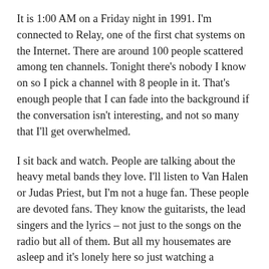It is 1:00 AM on a Friday night in 1991. I'm connected to Relay, one of the first chat systems on the Internet. There are around 100 people scattered among ten channels. Tonight there's nobody I know on so I pick a channel with 8 people in it. That's enough people that I can fade into the background if the conversation isn't interesting, and not so many that I'll get overwhelmed.
I sit back and watch. People are talking about the heavy metal bands they love. I'll listen to Van Halen or Judas Priest, but I'm not a huge fan. These people are devoted fans. They know the guitarists, the lead singers and the lyrics – not just to the songs on the radio but all of them. But all my housemates are asleep and it's lonely here so just watching a conversation is better than looking at a blank